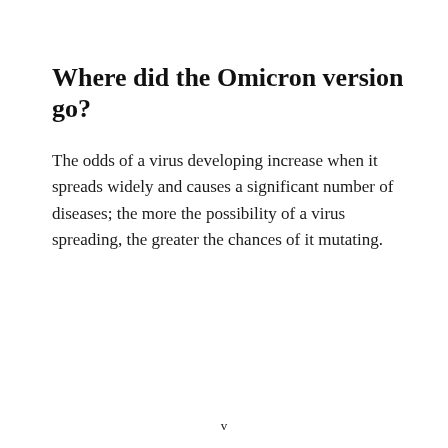Where did the Omicron version go?
The odds of a virus developing increase when it spreads widely and causes a significant number of diseases; the more the possibility of a virus spreading, the greater the chances of it mutating.
v